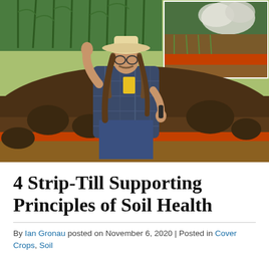[Figure (photo): A man wearing a white cowboy hat, glasses, and a plaid shirt stands in a field with exposed dark soil/dirt in front of him and corn plants behind him. In the upper right corner is an inset photo showing burning/smoking agricultural field with crop stubble.]
4 Strip-Till Supporting Principles of Soil Health
By Ian Gronau posted on November 6, 2020 | Posted in Cover Crops, Soil